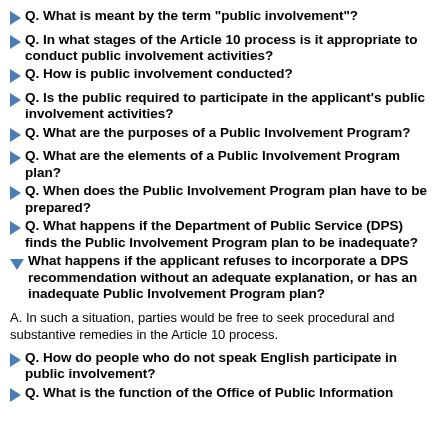Q. What is meant by the term "public involvement"?
Q. In what stages of the Article 10 process is it appropriate to conduct public involvement activities?
Q. How is public involvement conducted?
Q. Is the public required to participate in the applicant's public involvement activities?
Q. What are the purposes of a Public Involvement Program?
Q. What are the elements of a Public Involvement Program plan?
Q. When does the Public Involvement Program plan have to be prepared?
Q. What happens if the Department of Public Service (DPS) finds the Public Involvement Program plan to be inadequate?
What happens if the applicant refuses to incorporate a DPS recommendation without an adequate explanation, or has an inadequate Public Involvement Program plan?
A. In such a situation, parties would be free to seek procedural and substantive remedies in the Article 10 process.
Q. How do people who do not speak English participate in public involvement?
Q. What is the function of the Office of Public Information